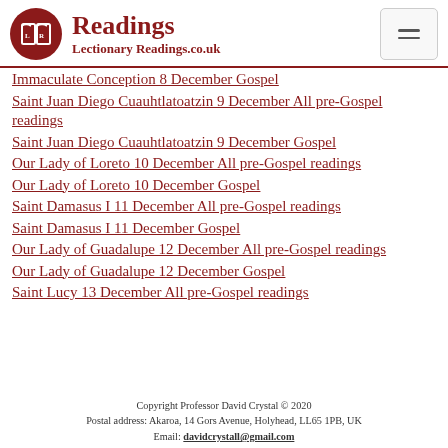Readings — LectionaryReadings.co.uk
Immaculate Conception 8 December Gospel
Saint Juan Diego Cuauhtlatoatzin 9 December All pre-Gospel readings
Saint Juan Diego Cuauhtlatoatzin 9 December Gospel
Our Lady of Loreto 10 December All pre-Gospel readings
Our Lady of Loreto 10 December Gospel
Saint Damasus I 11 December All pre-Gospel readings
Saint Damasus I 11 December Gospel
Our Lady of Guadalupe 12 December All pre-Gospel readings
Our Lady of Guadalupe 12 December Gospel
Saint Lucy 13 December All pre-Gospel readings
Copyright Professor David Crystal © 2020
Postal address: Akaroa, 14 Gors Avenue, Holyhead, LL65 1PB, UK
Email: davidcrystall@gmail.com